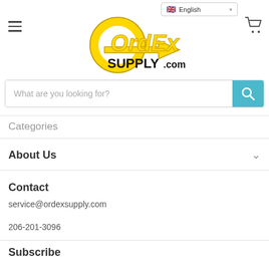[Figure (logo): OrdEx Supply.com logo with yellow circular arrow graphic and black bold text]
What are you looking for?
Categories
About Us
Contact
service@ordexsupply.com
206-201-3096
Subscribe